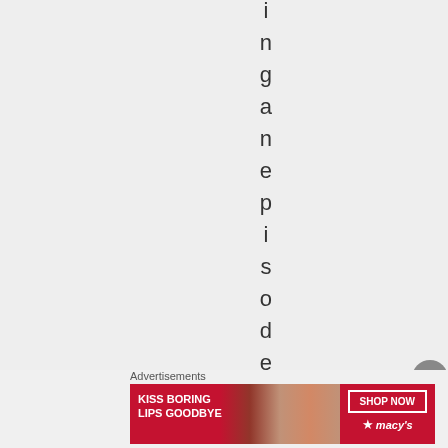i n g a n e p i s o d e w
Advertisements
[Figure (illustration): Macy's advertisement banner: 'KISS BORING LIPS GOODBYE' with woman's face showing red lips, and 'SHOP NOW' button with Macy's star logo on red background]